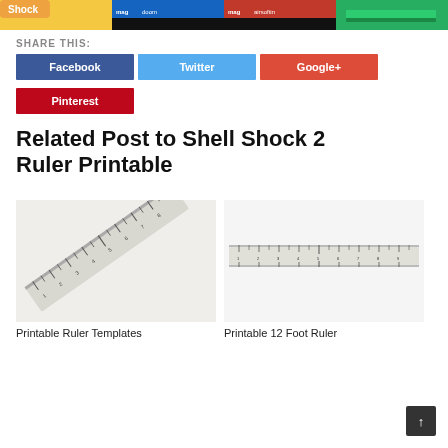[Figure (photo): Strip of four thumbnail images at top of page related to Shell Shock 2 Ruler Printable]
SHARE THIS:
Facebook
Twitter
Google+
Pinterest
Related Post to Shell Shock 2 Ruler Printable
[Figure (photo): Printable ruler template image — diagonal angled ruler on white background]
Printable Ruler Templates
[Figure (photo): Printable 12 foot ruler image — horizontal ruler on white background]
Printable 12 Foot Ruler